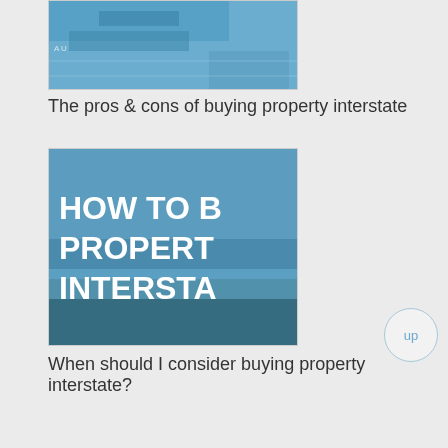[Figure (photo): Partial thumbnail of a map or document with blue tones, cropped at top]
The pros & cons of buying property interstate
[Figure (photo): Thumbnail with bold white text reading HOW TO B... PROPERT... INTERSTA... over a scenic background]
When should I consider buying property interstate?
[Figure (photo): Photo of a brown book titled LANDLORD-TENANT LAW with a wooden gavel]
Landlord-tenant law
[Figure (photo): Partial photo of a man in a light blue shirt and tie holding something, cropped at bottom]